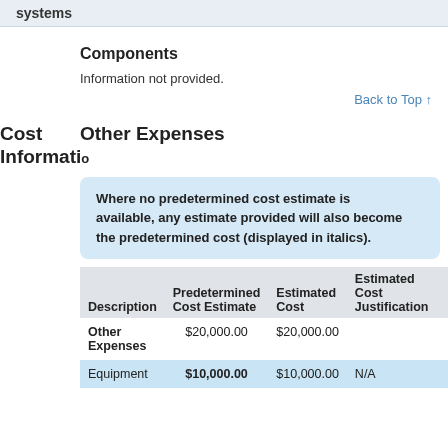systems
Components
Information not provided.
Back to Top ↑
Cost Information
Other Expenses
Where no predetermined cost estimate is available, any estimate provided will also become the predetermined cost (displayed in italics).
| Description | Predetermined Cost Estimate | Estimated Cost | Estimated Cost Justification |  |
| --- | --- | --- | --- | --- |
| Other Expenses | $20,000.00 | $20,000.00 |  |  |
| Equipment | $10,000.00 | $10,000.00 | N/A |  |